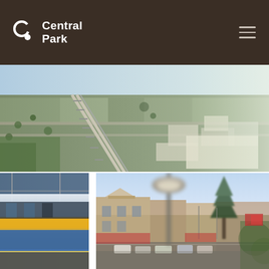Central Park
[Figure (photo): Aerial view of suburban area with railway line running through centre, showing rooftops, streets, and commercial buildings]
[Figure (photo): Close-up of yellow and blue train at a platform station, motion blur effect]
[Figure (photo): Street-level view of a main street with heritage buildings, parked cars, a large street lamp in foreground, and a tall pine tree, bokeh blur effect]